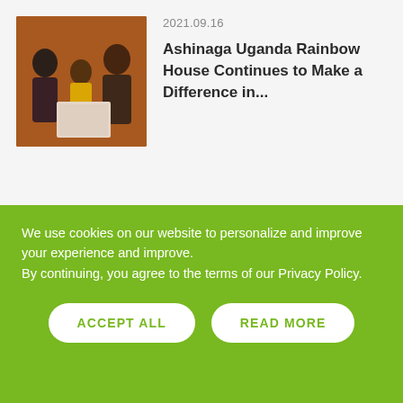[Figure (photo): Photo of three people sitting together, two adults and a child in a yellow shirt, appearing to look at papers or a book. Brick wall background.]
2021.09.16
Ashinaga Uganda Rainbow House Continues to Make a Difference in...
[Figure (logo): Large faint watermark-style Ashinaga logo with Japanese characters and figures, in light peach/orange tones. A small orange decorative element is visible near the bottom.]
We use cookies on our website to personalize and improve your experience and improve.
By continuing, you agree to the terms of our Privacy Policy.
ACCEPT ALL
READ MORE